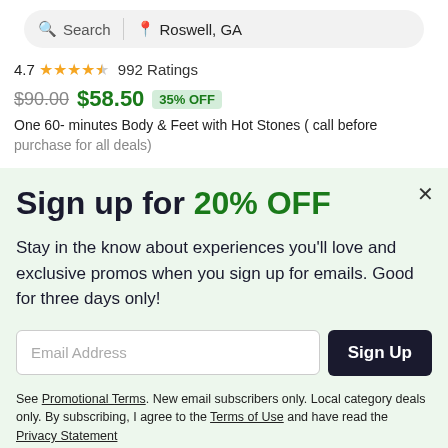[Figure (screenshot): Search bar with 'Search' text and location 'Roswell, GA']
4.7 ★★★★½ 992 Ratings
$90.00 $58.50 35% OFF
One 60- minutes Body & Feet with Hot Stones ( call before purchase for all deals)
Sign up for 20% OFF
Stay in the know about experiences you'll love and exclusive promos when you sign up for emails. Good for three days only!
Email Address  Sign Up
See Promotional Terms. New email subscribers only. Local category deals only. By subscribing, I agree to the Terms of Use and have read the Privacy Statement